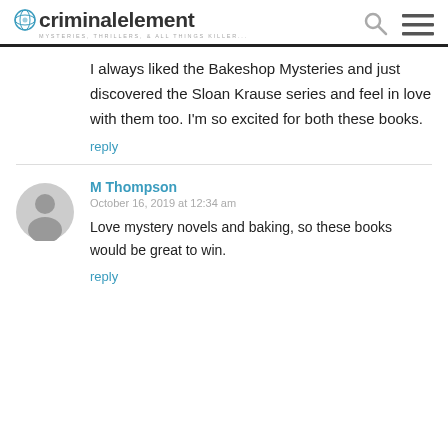criminalelement — MYSTERIES, THRILLERS, & ALL THINGS KILLER...
I always liked the Bakeshop Mysteries and just discovered the Sloan Krause series and feel in love with them too. I'm so excited for both these books.
reply
M Thompson
October 16, 2019 at 12:34 am
Love mystery novels and baking, so these books would be great to win.
reply